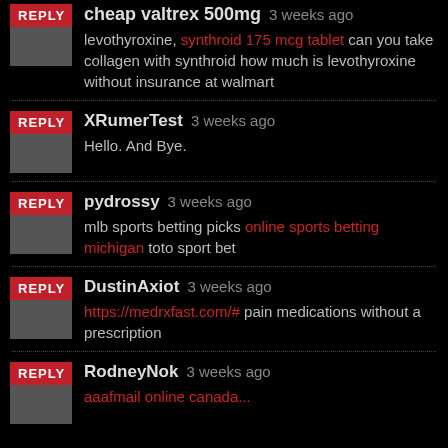cheap valtrex 500mg 3 weeks ago
levothyroxine, synthroid 175 mcg tablet can you take collagen with synthroid how much is levothyroxine without insurance at walmart
XRumerTest 3 weeks ago
Hello. And Bye.
pydrossy 3 weeks ago
mlb sports betting picks online sports betting michigan toto sport bet
DustinAxiot 3 weeks ago
https://medrxfast.com/# pain medications without a prescription
RodneyNok 3 weeks ago